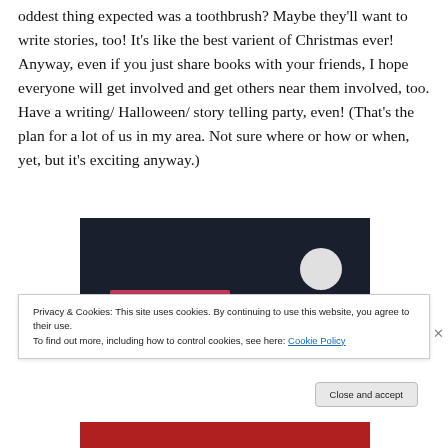oddest thing expected was a toothbrush?  Maybe they'll want to write stories, too!  It's like the best varient of Christmas ever!  Anyway, even if you just share books with your friends, I hope everyone will get involved and get others near them involved, too.  Have a writing/ Halloween/ story telling party, even!  (That's the plan for a lot of us in my area.  Not sure where or how or when, yet, but it's exciting anyway.)
[Figure (photo): Dark-background image (dark navy/black) with a pink/red bar element and a light gray circle visible, partial screenshot of a website image]
Privacy & Cookies: This site uses cookies. By continuing to use this website, you agree to their use.
To find out more, including how to control cookies, see here: Cookie Policy
Close and accept